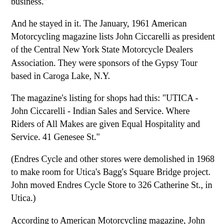bought his business, at that time Otto sold Indian Motorcycles. That is how he got into the motorcycle business."
And he stayed in it. The January, 1961 American Motorcycling magazine lists John Ciccarelli as president of the Central New York State Motorcycle Dealers Association. They were sponsors of the Gypsy Tour based in Caroga Lake, N.Y.
The magazine's listing for shops had this: "UTICA - John Ciccarelli - Indian Sales and Service. Where Riders of All Makes are given Equal Hospitality and Service. 41 Genesee St."
(Endres Cycle and other stores were demolished in 1968 to make room for Utica's Bagg's Square Bridge project. John moved Endres Cycle Store to 326 Catherine St., in Utica.)
According to American Motorcycling magazine, John Ciccarelli was on the Competition Committee of the American Motorcycle Association at annual meetings in Houston, Texas, in 1961 and San Francisco, Calif. in 1962. He was also on thehill climbing committee in 1961.